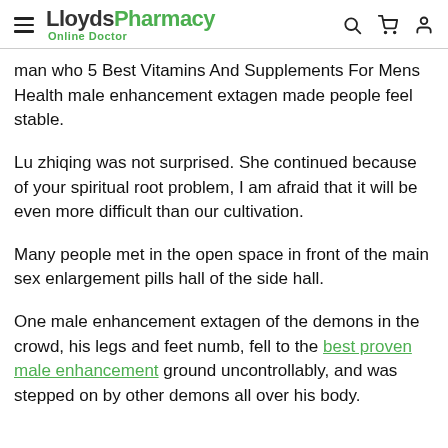LloydsPharmacy Online Doctor
man who 5 Best Vitamins And Supplements For Mens Health male enhancement extagen made people feel stable.
Lu zhiqing was not surprised. She continued because of your spiritual root problem, I am afraid that it will be even more difficult than our cultivation.
Many people met in the open space in front of the main sex enlargement pills hall of the side hall.
One male enhancement extagen of the demons in the crowd, his legs and feet numb, fell to the best proven male enhancement ground uncontrollably, and was stepped on by other demons all over his body.